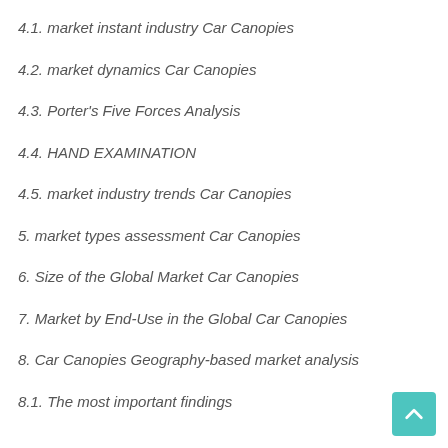4.1. market instant industry Car Canopies
4.2. market dynamics Car Canopies
4.3. Porter's Five Forces Analysis
4.4. HAND EXAMINATION
4.5. market industry trends Car Canopies
5. market types assessment Car Canopies
6. Size of the Global Market Car Canopies
7. Market by End-Use in the Global Car Canopies
8. Car Canopies Geography-based market analysis
8.1. The most important findings